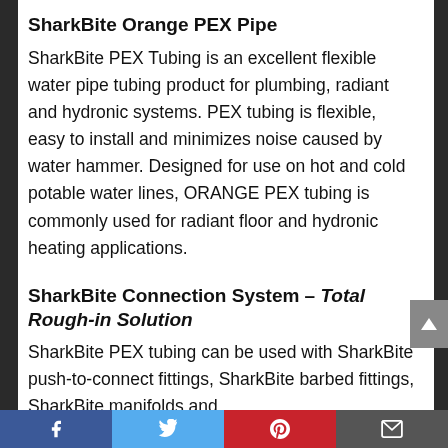SharkBite Orange PEX Pipe
SharkBite PEX Tubing is an excellent flexible water pipe tubing product for plumbing, radiant and hydronic systems. PEX tubing is flexible, easy to install and minimizes noise caused by water hammer. Designed for use on hot and cold potable water lines, ORANGE PEX tubing is commonly used for radiant floor and hydronic heating applications.
SharkBite Connection System – Total Rough-in Solution
SharkBite PEX tubing can be used with SharkBite push-to-connect fittings, SharkBite barbed fittings, SharkBite manifolds and